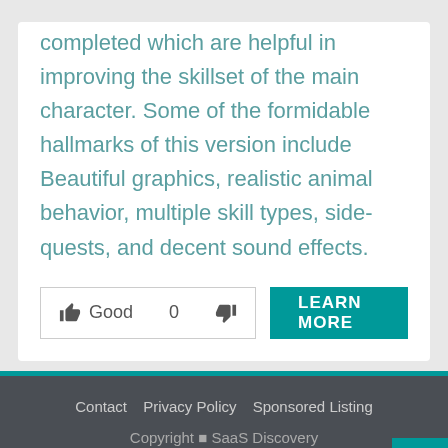completed which are helpful in improving the skillset of the main character. Some of the formidable hallmarks of this version include Beautiful graphics, realistic animal behavior, multiple skill types, side-quests, and decent sound effects.
👍 Good  0  👎   LEARN MORE
Contact  Privacy Policy  Sponsored Listing
Copyright © SaaS Discovery